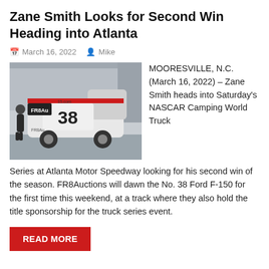Zane Smith Looks for Second Win Heading into Atlanta
March 16, 2022   Mike
[Figure (photo): Photo of Zane Smith standing next to the No. 38 Ford F-150 NASCAR truck in a garage in Mooresville, N.C.]
MOORESVILLE, N.C. (March 16, 2022) – Zane Smith heads into Saturday's NASCAR Camping World Truck Series at Atlanta Motor Speedway looking for his second win of the season. FR8Auctions will dawn the No. 38 Ford F-150 for the first time this weekend, at a track where they also hold the title sponsorship for the truck series event.
READ MORE
NASCAR, Atlanta, Camping World Truck Series   nascar, truck, win, series, Atlanta, Heading, camping, world, for, looks, into, smith,, second, zane
Leave a comment